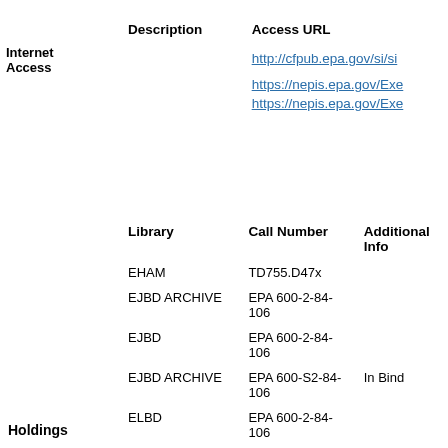|  | Description | Access URL |
| --- | --- | --- |
| Internet Access |  | http://cfpub.epa.gov/si/si |
|  |  | https://nepis.epa.gov/Exe |
|  |  | https://nepis.epa.gov/Exe |
|  | Library | Call Number | Additional Info |
| --- | --- | --- | --- |
|  | EHAM | TD755.D47x |  |
|  | EJBD ARCHIVE | EPA 600-2-84-106 |  |
|  | EJBD | EPA 600-2-84-106 |  |
|  | EJBD ARCHIVE | EPA 600-S2-84-106 | In Binder |
|  | ELBD | EPA 600-2-84-106 |  |
Holdings